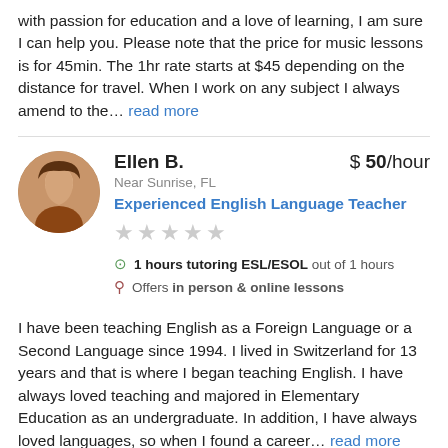with passion for education and a love of learning, I am sure I can help you. Please note that the price for music lessons is for 45min. The 1hr rate starts at $45 depending on the distance for travel. When I work on any subject I always amend to the… read more
Ellen B.
Near Sunrise, FL
Experienced English Language Teacher
$ 50/hour
1 hours tutoring ESL/ESOL out of 1 hours
Offers in person & online lessons
I have been teaching English as a Foreign Language or a Second Language since 1994. I lived in Switzerland for 13 years and that is where I began teaching English. I have always loved teaching and majored in Elementary Education as an undergraduate. In addition, I have always loved languages, so when I found a career… read more